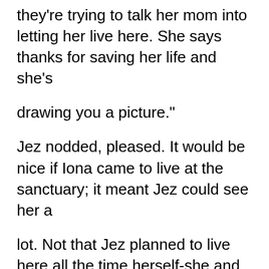they're trying to talk her mom into letting her live here. She says thanks for saving her life and she's
drawing you a picture."
Jez nodded, pleased. It would be nice if Iona came to live at the sanctuary; it meant Jez could see her a
lot. Not that Jez planned to live here all the time herself-she and Morgead needed their freedom. They
couldn't be penned in; they had to be able to come and go. She just hadn't gotten around to telling the